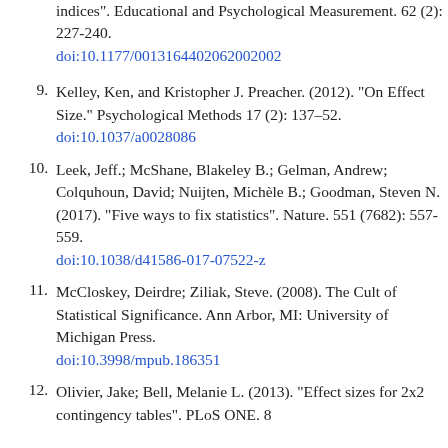(continuation) indices". Educational and Psychological Measurement. 62 (2): 227-240. doi:10.1177/0013164402062002002
9. Kelley, Ken, and Kristopher J. Preacher. (2012). "On Effect Size." Psychological Methods 17 (2): 137–52. doi:10.1037/a0028086
10. Leek, Jeff.; McShane, Blakeley B.; Gelman, Andrew; Colquhoun, David; Nuijten, Michèle B.; Goodman, Steven N. (2017). "Five ways to fix statistics". Nature. 551 (7682): 557-559. doi:10.1038/d41586-017-07522-z
11. McCloskey, Deirdre; Ziliak, Steve. (2008). The Cult of Statistical Significance. Ann Arbor, MI: University of Michigan Press. doi:10.3998/mpub.186351
12. Olivier, Jake; Bell, Melanie L. (2013). "Effect sizes for 2x2 contingency tables". PLoS ONE. 8